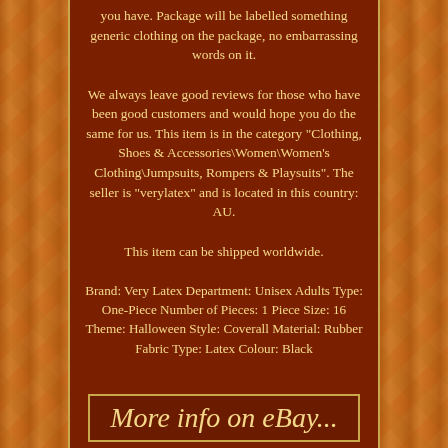you have. Package will be labelled something generic clothing on the package, no embarrassing words on it.
We always leave good reviews for those who have been good customers and would hope you do the same for us. This item is in the category "Clothing, Shoes & Accessories\Women\Women's Clothing\Jumpsuits, Rompers & Playsuits". The seller is "verylatex" and is located in this country: AU.
This item can be shipped worldwide.
Brand: Very Latex Department: Unisex Adults Type: One-Piece Number of Pieces: 1 Piece Size: 16 Theme: Halloween Style: Coverall Material: Rubber Fabric Type: Latex Colour: Black
More info on eBay...